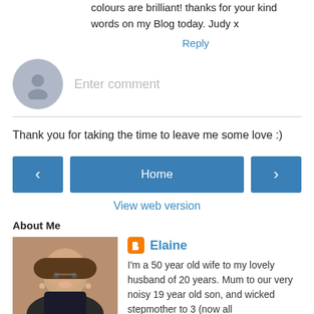colours are brilliant! thanks for your kind words on my Blog today. Judy x
Reply
[Figure (other): Comment input area with avatar placeholder and 'Enter comment' text field]
Thank you for taking the time to leave me some love :)
[Figure (infographic): Navigation buttons: left arrow, Home, right arrow]
View web version
About Me
[Figure (photo): Profile photo of Elaine, a woman with glasses and short hair]
Elaine
I'm a 50 year old wife to my lovely husband of 20 years. Mum to our very noisy 19 year old son, and wicked stepmother to 3 (now all grown)stepchildren. At heart I'm a crazy cat lady and would have a house full of